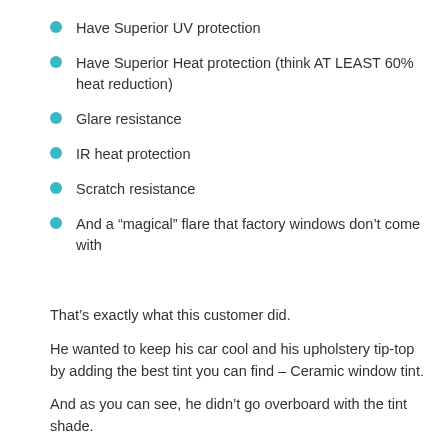Have Superior UV protection
Have Superior Heat protection (think AT LEAST 60% heat reduction)
Glare resistance
IR heat protection
Scratch resistance
And a “magical” flare that factory windows don’t come with
That’s exactly what this customer did.
He wanted to keep his car cool and his upholstery tip-top by adding the best tint you can find – Ceramic window tint.
And as you can see, he didn’t go overboard with the tint shade.
In fact, we did a 70% tint shade all the way around and it